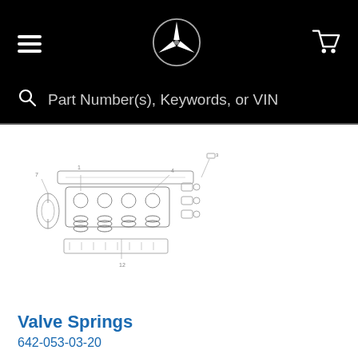[Figure (logo): Mercedes-Benz star logo in white on black navigation bar]
Part Number(s), Keywords, or VIN
[Figure (schematic): Exploded parts diagram for valve springs engine component]
Valve Springs
642-053-03-20
Mercedes-Benz of Chantilly
$8.50
Add To Cart
[Figure (schematic): Partial exploded parts diagram for second engine component listing]